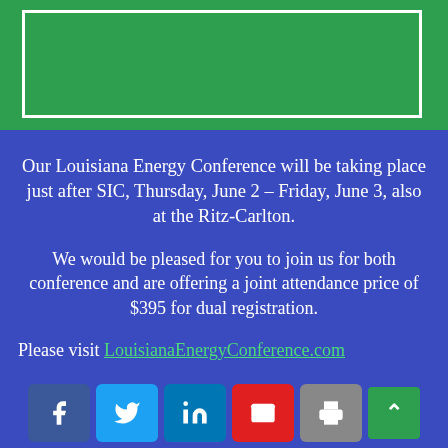[Figure (other): Green banner section with white border box at top of page]
Our Louisiana Energy Conference will be taking place just after SIC, Thursday, June 2 – Friday, June 3, also at the Ritz-Carlton.
We would be pleased for you to join us for both conference and are offering a joint attendance price of $395 for dual registration.
Please visit LouisianaEnergyConference.com